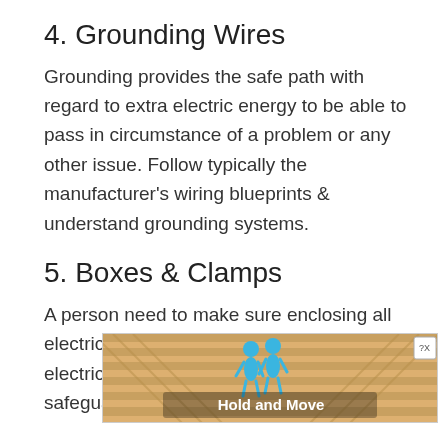4. Grounding Wires
Grounding provides the safe path with regard to extra electric energy to be able to pass in circumstance of a problem or any other issue. Follow typically the manufacturer's wiring blueprints & understand grounding systems.
5. Boxes & Clamps
A person need to make sure enclosing all electrical wiring connections in appropriate electrical boxes or clamps. Enclosures safeguard the d[…] unin[…] connections.
[Figure (screenshot): Advertisement banner overlay showing wooden slat background with two blue cartoon figures and 'Hold and Move' text label, with a close button (? X) in top right corner.]
6. C…